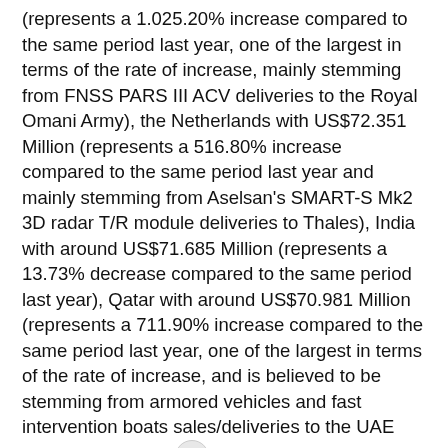(represents a 1.025.20% increase compared to the same period last year, one of the largest in terms of the rate of increase, mainly stemming from FNSS PARS III ACV deliveries to the Royal Omani Army), the Netherlands with US$72.351 Million (represents a 516.80% increase compared to the same period last year and mainly stemming from Aselsan's SMART-S Mk2 3D radar T/R module deliveries to Thales), India with around US$71.685 Million (represents a 13.73% decrease compared to the same period last year), Qatar with around US$70.981 Million (represents a 711.90% increase compared to the same period last year, one of the largest in terms of the rate of increase, and is believed to be stemming from armored vehicles and fast intervention boats sales/deliveries to the UAE Armed Forces), th 🔘 with US$50.660 Million, Poland with US$48,409 Million, France with around US$44.505 Million, Azerbaijan with around US$37.465 Million, UAE with